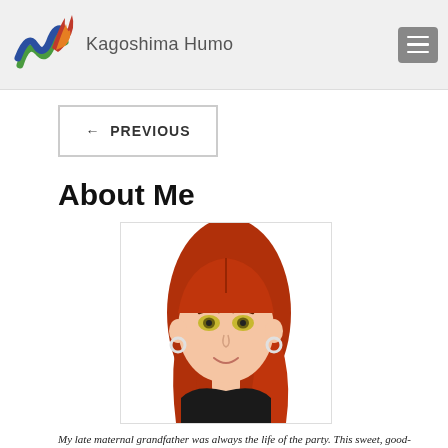Kagoshima Humo
← PREVIOUS
About Me
[Figure (illustration): Cartoon avatar of a woman with long red hair, yellow-green eyes, hoop earrings, and a black top, smiling slightly.]
My late maternal grandfather was always the life of the party. This sweet, good-natured man could always make me laugh with his